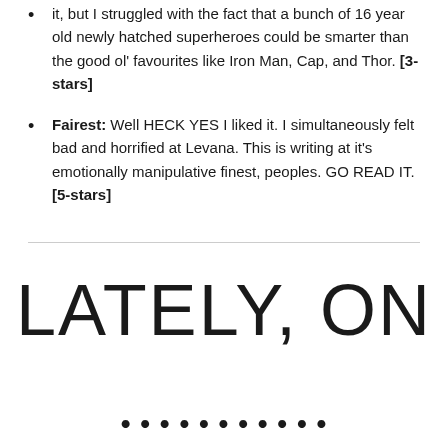Avengers, The Children's Crusade: WELL THEN. I liked it, but I struggled with the fact that a bunch of 16 year old newly hatched superheroes could be smarter than the good ol' favourites like Iron Man, Cap, and Thor. [3-stars]
Fairest: Well HECK YES I liked it. I simultaneously felt bad and horrified at Levana. This is writing at it's emotionally manipulative finest, peoples. GO READ IT. [5-stars]
LATELY, ON